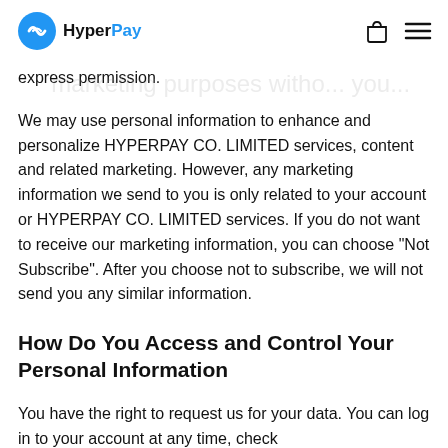HyperPay
express permission.
We may use personal information to enhance and personalize HYPERPAY CO. LIMITED services, content and related marketing. However, any marketing information we send to you is only related to your account or HYPERPAY CO. LIMITED services. If you do not want to receive our marketing information, you can choose “Not Subscribe”. After you choose not to subscribe, we will not send you any similar information.
How Do You Access and Control Your Personal Information
You have the right to request us for your data. You can log in to your account at any time, check